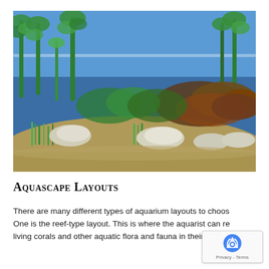[Figure (photo): An aquarium tank with aquatic plants including tall green plants, red and brown aquatic plants, white rocks, and sandy substrate on the bottom. The background is blue.]
Aquascape Layouts
There are many different types of aquarium layouts to choos... One is the reef-type layout. This is where the aquarist can re... living corals and other aquatic flora and fauna in their tank. Marine